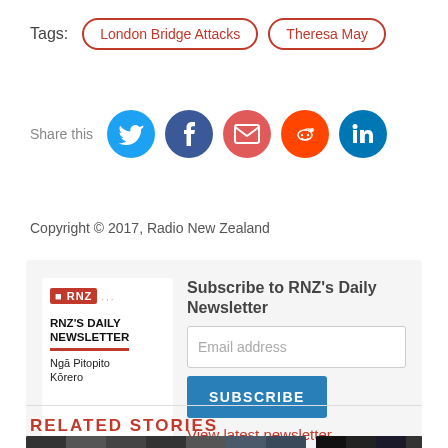Tags:  London Bridge Attacks  Theresa May
[Figure (infographic): Share this row with Twitter, Facebook, Email, Reddit, and LinkedIn social icons]
Copyright © 2017, Radio New Zealand
[Figure (infographic): Subscribe to RNZ's Daily Newsletter signup box with email input and subscribe button]
RELATED STORIES
[Figure (photo): Two partial thumbnail images for related stories]